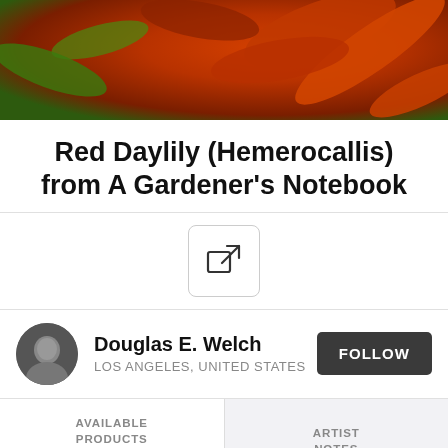[Figure (photo): Close-up photo of red daylily (Hemerocallis) flowers with deep red and orange petals against green foliage]
Red Daylily (Hemerocallis) from A Gardener's Notebook
[Figure (other): Share button icon (box with arrow pointing right)]
Douglas E. Welch
LOS ANGELES, UNITED STATES
FOLLOW
AVAILABLE PRODUCTS
80
ARTIST NOTES